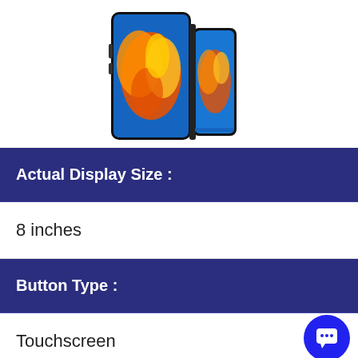[Figure (photo): Huawei foldable smartphone (Mate Xs or similar) shown in folded/partially unfolded state, displaying orange floral/butterfly pattern on blue background screen.]
| Attribute | Value |
| --- | --- |
| Actual Display Size : | 8 inches |
| Button Type : | Touchscreen |
| Operating System : |  |